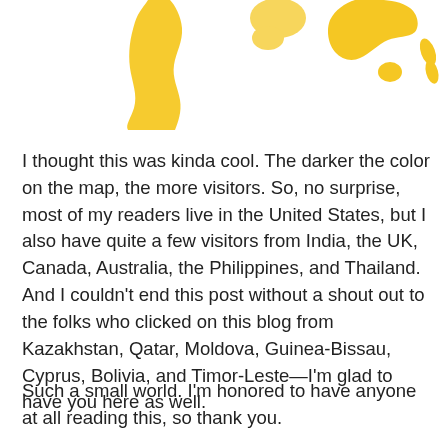[Figure (map): Partial world map with countries highlighted in yellow/orange shading. Visible regions include South America, parts of Africa/Europe, and Australia. Darker yellow indicates more visitors.]
I thought this was kinda cool. The darker the color on the map, the more visitors. So, no surprise, most of my readers live in the United States, but I also have quite a few visitors from India, the UK, Canada, Australia, the Philippines, and Thailand. And I couldn't end this post without a shout out to the folks who clicked on this blog from Kazakhstan, Qatar, Moldova, Guinea-Bissau, Cyprus, Bolivia, and Timor-Leste—I'm glad to have you here as well.
Such a small world. I'm honored to have anyone at all reading this, so thank you.